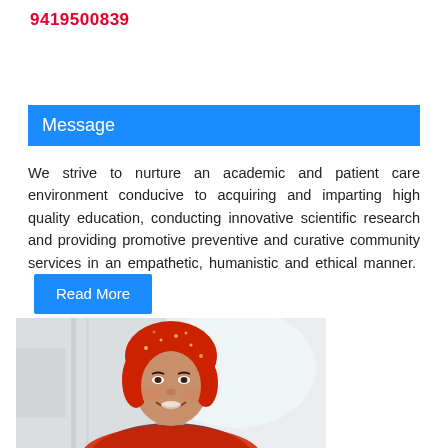9419500839
Message
We strive to nurture an academic and patient care environment conducive to acquiring and imparting high quality education, conducting innovative scientific research and providing promotive preventive and curative community services in an empathetic, humanistic and ethical manner. Read More
[Figure (photo): Portrait photo of a woman wearing a red patterned headscarf, smiling, with a light blurred background]